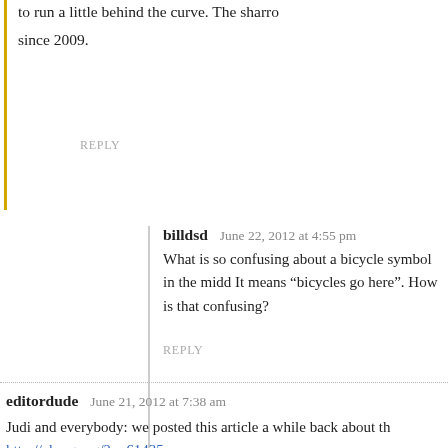to run a little behind the curve. The shallo since 2009.
REPLY
billdsd   June 22, 2012 at 4:55 pm
What is so confusing about a bicycle symbol in the midd It means “bicycles go here”. How is that confusing?
REPLY
editordude   June 21, 2012 at 7:38 am
Judi and everybody: we posted this article a while back about th http://obrag.org/?p=61435
REPLY